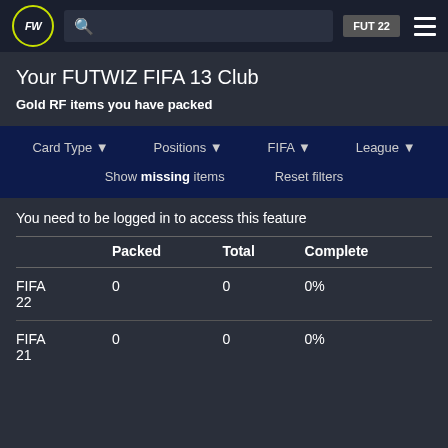FUTWIZ — FUT 22
Your FUTWIZ FIFA 13 Club
Gold RF items you have packed
Card Type ▾   Positions ▾   FIFA ▾   League ▾
Show missing items   Reset filters
You need to be logged in to access this feature
|  | Packed | Total | Complete |
| --- | --- | --- | --- |
| FIFA 22 | 0 | 0 | 0% |
| FIFA 21 | 0 | 0 | 0% |